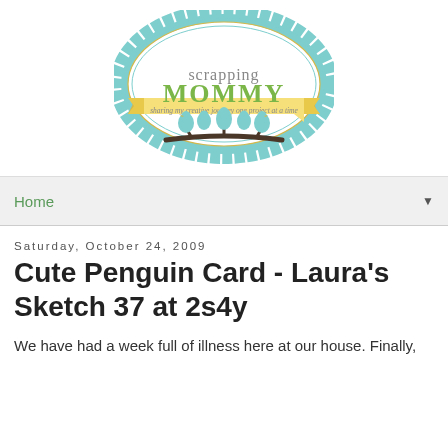[Figure (logo): Scrapping Mommy blog logo: teal scalloped oval with 'scrapping MOMMY' text, yellow banner ribbon reading 'sharing my creative journey one project at a time', and teal birds on a branch at the bottom.]
Home ▼
Saturday, October 24, 2009
Cute Penguin Card - Laura's Sketch 37 at 2s4y
We have had a week full of illness here at our house. Finally,